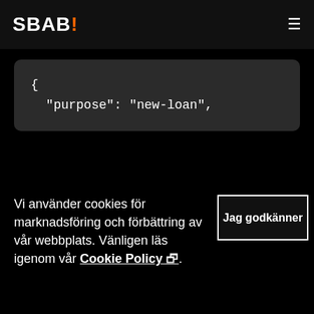SBAB!
[Figure (screenshot): Code block showing JSON with opening brace and 'purpose': 'new-loan',]
Vi använder cookies för marknadsföring och förbättring av vår webbplats. Vänligen läs igenom vår Cookie Policy.
Jag godkänner